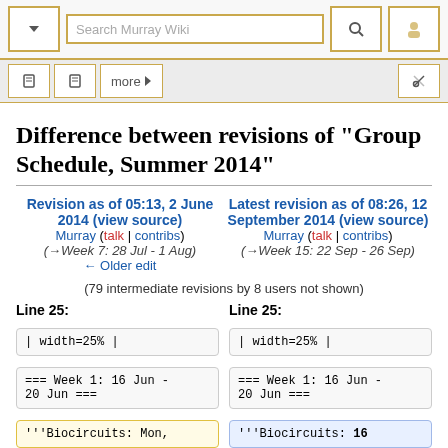Search Murray Wiki toolbar
Difference between revisions of "Group Schedule, Summer 2014"
Revision as of 05:13, 2 June 2014 (view source)
Murray (talk | contribs)
(→Week 7: 28 Jul - 1 Aug)
← Older edit
Latest revision as of 08:26, 12 September 2014 (view source)
Murray (talk | contribs)
(→Week 15: 22 Sep - 26 Sep)
(79 intermediate revisions by 8 users not shown)
Line 25:
Line 25:
| width=25% |
| width=25% |
=== Week 1: 16 Jun - 20 Jun ===
=== Week 1: 16 Jun - 20 Jun ===
'''Biocircuits: Mon,
'''Biocircuits: 16